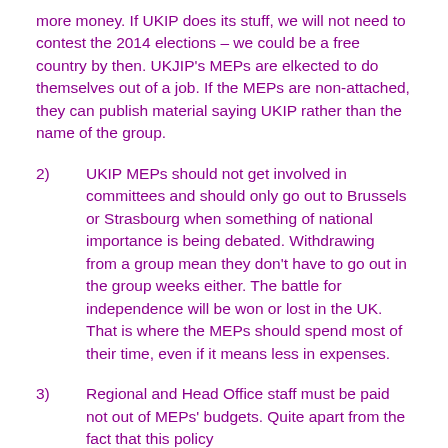more money. If UKIP does its stuff, we will not need to contest the 2014 elections – we could be a free country by then. UKJIP's MEPs are elkected to do themselves out of a job. If the MEPs are non-attached, they can publish material saying UKIP rather than the name of the group.
2)      UKIP MEPs should not get involved in committees and should only go out to Brussels or Strasbourg when something of national importance is being debated. Withdrawing from a group mean they don't have to go out in the group weeks either. The battle for independence will be won or lost in the UK. That is where the MEPs should spend most of their time, even if it means less in expenses.
3)      Regional and Head Office staff must be paid not out of MEPs' budgets. Quite apart from the fact that this policy